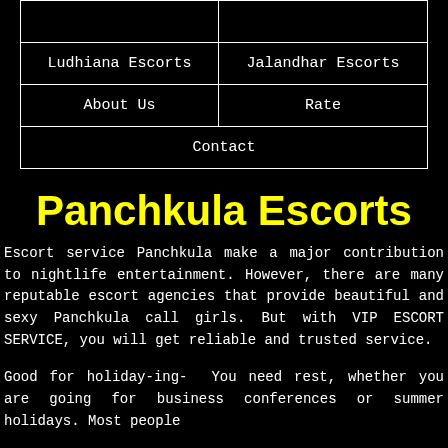| Ludhiana Escorts | Jalandhar Escorts |
| About Us | Rate |
| Contact |
Panchkula Escorts
Escort service Panchkula make a major contribution to nightlife entertainment. However, there are many reputable escort agencies that provide beautiful and sexy Panchkula call girls. But with VIP ESCORT SERVICE, you will get reliable and trusted service.
Good for holiday-ing- You need rest, whether you are going for business conferences or summer holidays. Most people